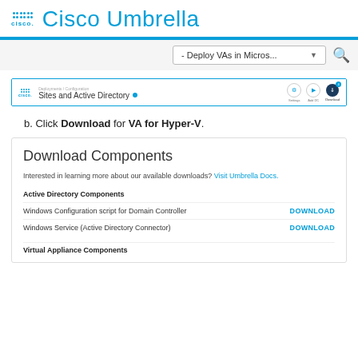Cisco Umbrella
[Figure (screenshot): Cisco Umbrella dashboard screenshot showing Sites and Active Directory page with Download tab highlighted]
b. Click Download for VA for Hyper-V.
[Figure (screenshot): Download Components panel showing Active Directory Components section with Windows Configuration script for Domain Controller and Windows Service (Active Directory Connector) download links, and Virtual Appliance Components section header]